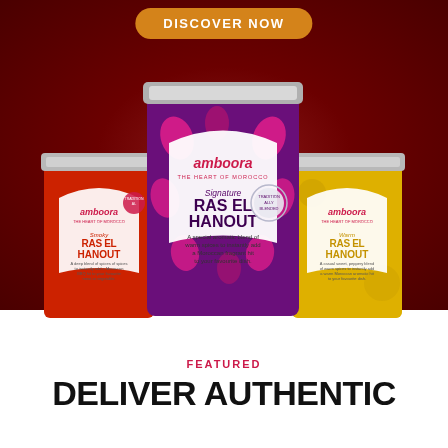DISCOVER NOW
[Figure (photo): Three Amboora spice tins: left is red/orange Smoky Ras El Hanout, center is purple/pink Signature Ras El Hanout (largest, in front), right is yellow Warm Ras El Hanout. All feature the Amboora brand logo and The Heart of Morocco tagline.]
FEATURED
DELIVER AUTHENTIC